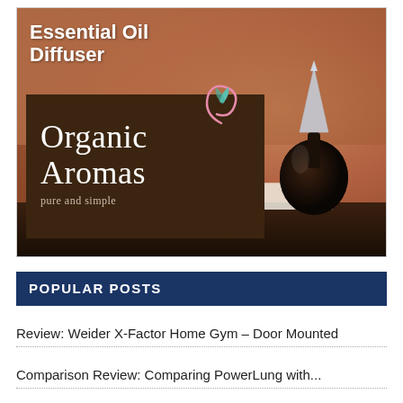[Figure (photo): Advertisement image for Organic Aromas Essential Oil Diffuser. Shows a warm-toned photo background with a dark glass nebulizing diffuser device on the right side. A dark brown box overlay on the lower-left contains the Organic Aromas logo (serif white text) with tagline 'pure and simple' and a decorative swirl/leaf icon. Bold white text in upper-left reads 'Essential Oil Diffuser'.]
POPULAR POSTS
Review: Weider X-Factor Home Gym – Door Mounted
Comparison Review: Comparing PowerLung with...